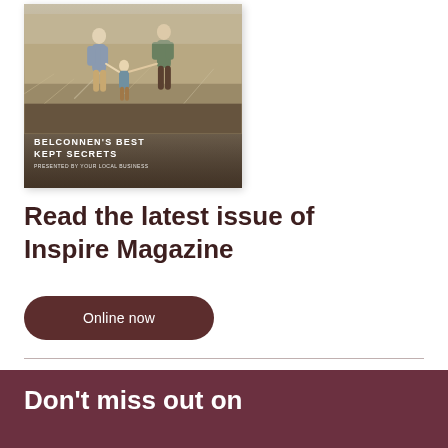[Figure (photo): Magazine cover showing a family walking in a field with tall grass. Text reads BELCONNEN'S BEST KEPT SECRETS with a subtitle below.]
Read the latest issue of Inspire Magazine
Online now
Don't miss out on